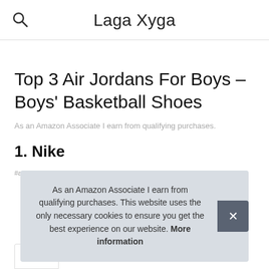Laga Xyga
Top 3 Air Jordans For Boys – Boys' Basketball Shoes
As an Amazon Associate I earn from qualifying purchases.
1. Nike
#ad
As an Amazon Associate I earn from qualifying purchases. This website uses the only necessary cookies to ensure you get the best experience on our website. More information